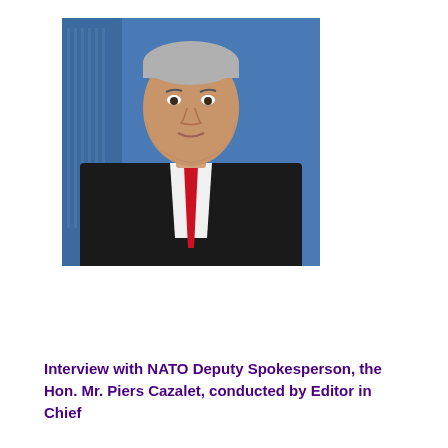[Figure (photo): Portrait photo of a middle-aged man with grey hair wearing a black suit, white shirt, and red tie, photographed against a blue background.]
Interview with NATO Deputy Spokesperson, the Hon. Mr. Piers Cazalet, conducted by Editor in Chief